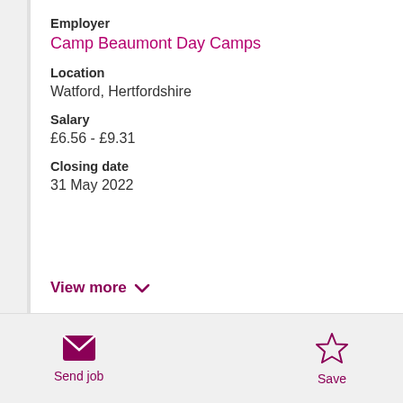Employer
Camp Beaumont Day Camps
Location
Watford, Hertfordshire
Salary
£6.56 - £9.31
Closing date
31 May 2022
View more
Send job
Save